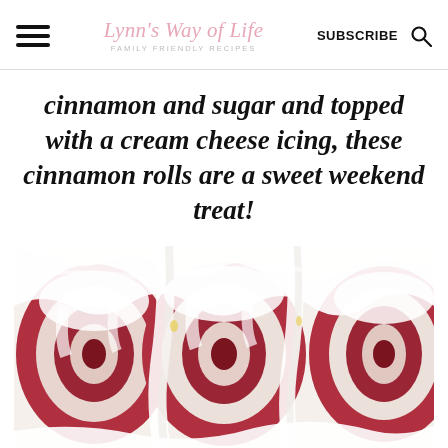Lynn's Way of Life — FAMILY FRIENDLY RECIPES | SUBSCRIBE
cinnamon and sugar and topped with a cream cheese icing, these cinnamon rolls are a sweet weekend treat!
[Figure (photo): Close-up top-down photo of red velvet cinnamon rolls covered in thick white cream cheese icing, showing spiral swirls of deep red dough.]